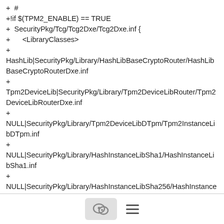+  #
+!if $(TPM2_ENABLE) == TRUE
+  SecurityPkg/Tcg/Tcg2Dxe/Tcg2Dxe.inf {
+      <LibraryClasses>
+
HashLib|SecurityPkg/Library/HashLibBaseCryptoRouter/HashLibBaseCryptoRouterDxe.inf
+
Tpm2DeviceLib|SecurityPkg/Library/Tpm2DeviceLibRouter/Tpm2DeviceLibRouterDxe.inf
+
NULL|SecurityPkg/Library/Tpm2DeviceLibDTpm/Tpm2InstanceLibDTpm.inf
+
NULL|SecurityPkg/Library/HashInstanceLibSha1/HashInstanceLibSha1.inf
+
NULL|SecurityPkg/Library/HashInstanceLibSha256/HashInstanceLibSha256.inf